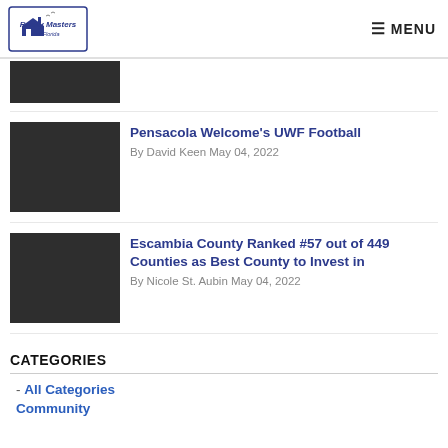Realty Masters of Florida | MENU
[Figure (other): Dark thumbnail image placeholder (partial, top of page)]
[Figure (other): Dark thumbnail image placeholder for Pensacola Welcome's UWF Football article]
Pensacola Welcome's UWF Football
By David Keen May 04, 2022
[Figure (other): Dark thumbnail image placeholder for Escambia County article]
Escambia County Ranked #57 out of 449 Counties as Best County to Invest in
By Nicole St. Aubin May 04, 2022
CATEGORIES
- All Categories
Community